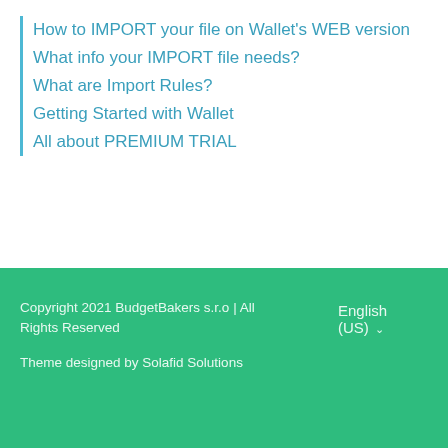How to IMPORT your file on Wallet's WEB version
What info your IMPORT file needs?
What are Import Rules?
Getting Started with Wallet
All about PREMIUM TRIAL
Copyright 2021 BudgetBakers s.r.o | All Rights Reserved
Theme designed by Solafid Solutions
English (US)